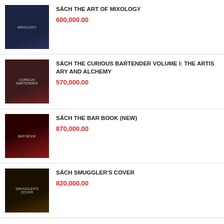SÁCH THE ART OF MIXOLOGY
600,000.00
SÁCH THE CURIOUS BARTENDER VOLUME I: THE ARTISARY AND ALCHEMY
570,000.00
SÁCH THE BAR BOOK (NEW)
870,000.00
SÁCH SMUGGLER'S COVER
820,000.00
[Figure (logo): Payment icons: VISA, PayPal, stripe, MasterCard, CASH ON DELIVERY on dark grey background]
Copyright 2022 © saigonbartender.com